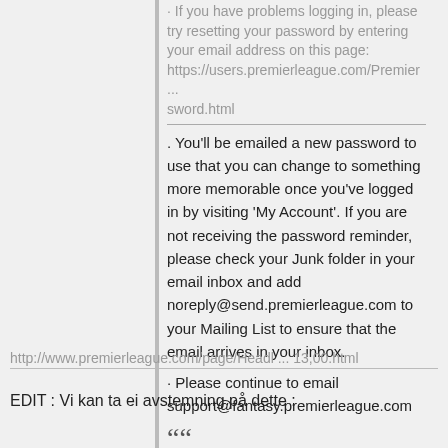· If you have problems logging in, please try resetting your password by entering your email address on this page:
https://users.premierleague.com/Premier ... sword.html
. You'll be emailed a new password to use that you can change to something more memorable once you've logged in by visiting 'My Account'. If you are not receiving the password reminder, please check your Junk folder in your email inbox and add noreply@send.premierleague.com to your Mailing List to ensure that the email arrives in your inbox.
· Please continue to email support@fantasy.premierleague.com with any issues you experience on the site with login, points updates etc.
http://www.premierleague.com/page/Headl ... 13,00.html
EDIT : Vi kan ta ei avstemning på dette :
““